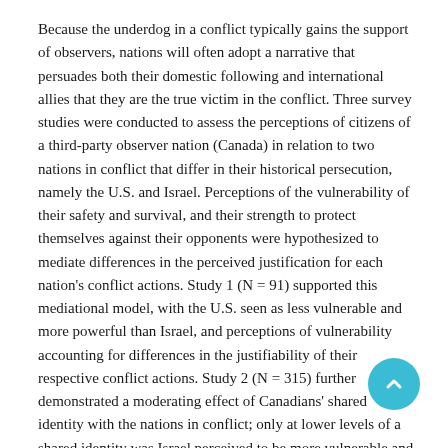Because the underdog in a conflict typically gains the support of observers, nations will often adopt a narrative that persuades both their domestic following and international allies that they are the true victim in the conflict. Three survey studies were conducted to assess the perceptions of citizens of a third-party observer nation (Canada) in relation to two nations in conflict that differ in their historical persecution, namely the U.S. and Israel. Perceptions of the vulnerability of their safety and survival, and their strength to protect themselves against their opponents were hypothesized to mediate differences in the perceived justification for each nation's conflict actions. Study 1 (N = 91) supported this mediational model, with the U.S. seen as less vulnerable and more powerful than Israel, and perceptions of vulnerability accounting for differences in the justifiability of their respective conflict actions. Study 2 (N = 315) further demonstrated a moderating effect of Canadians' shared identity with the nations in conflict; only at lower levels of a shared identity was Israel perceived to be more vulnerable and the mediated relation with the perceived justifiability of its conflict actions retained. Study 3 was conducted 10 years later (2018), administering measures to an independent sample of Canadian participants (N = 300). Canadians were found to show significantly